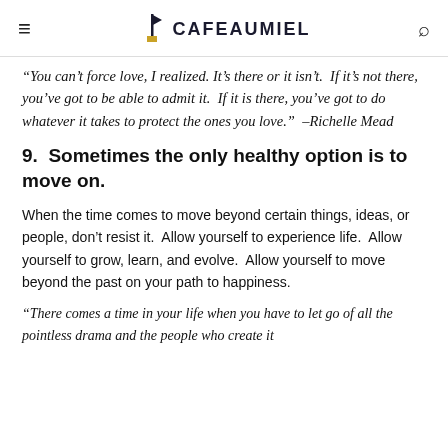CAFEAUMIEL
“You can’t force love, I realized. It’s there or it isn’t.  If it’s not there, you’ve got to be able to admit it.  If it is there, you’ve got to do whatever it takes to protect the ones you love.”  –Richelle Mead
9.  Sometimes the only healthy option is to move on.
When the time comes to move beyond certain things, ideas, or people, don’t resist it.  Allow yourself to experience life.  Allow yourself to grow, learn, and evolve.  Allow yourself to move beyond the past on your path to happiness.
“There comes a time in your life when you have to let go of all the pointless drama and the people who create it